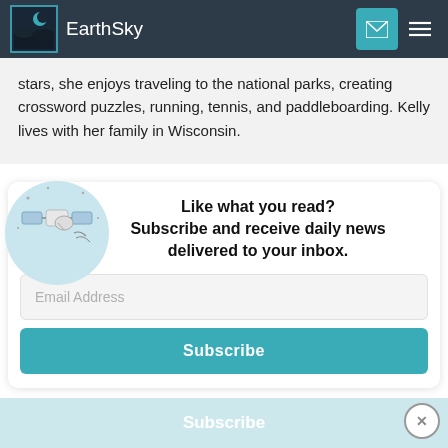EarthSky
stars, she enjoys traveling to the national parks, creating crossword puzzles, running, tennis, and paddleboarding. Kelly lives with her family in Wisconsin.
[Figure (illustration): Circular illustration with satellite/telescope and stars on light blue background]
Like what you read? Subscribe and receive daily news delivered to your inbox.
Email Address
Subscribe